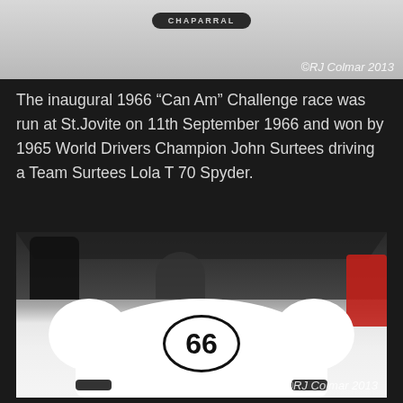[Figure (photo): Top portion of a Chaparral race car showing the Chaparral badge/logo on a light grey background with ©RJ Colmar 2013 watermark]
The inaugural 1966 “Can Am” Challenge race was run at St.Jovite on 11th September 1966 and won by 1965 World Drivers Champion John Surtees driving a Team Surtees Lola T 70 Spyder.
[Figure (photo): Front view of a white Chaparral racing car numbered 66 in an oval, displayed at a show with spectators visible behind it. A red car is visible on the right. ©RJ Colmar 2013 watermark at bottom right.]